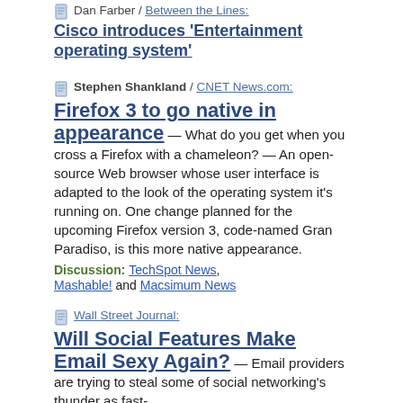Dan Farber / Between the Lines: Cisco introduces 'Entertainment operating system'
Stephen Shankland / CNET News.com: Firefox 3 to go native in appearance — What do you get when you cross a Firefox with a chameleon? — An open-source Web browser whose user interface is adapted to the look of the operating system it's running on. One change planned for the upcoming Firefox version 3, code-named Gran Paradiso, is this more native appearance. Discussion: TechSpot News, Mashable! and Macsimum News
Wall Street Journal: Will Social Features Make Email Sexy Again? — Email providers are trying to steal some of social networking's thunder as fast-